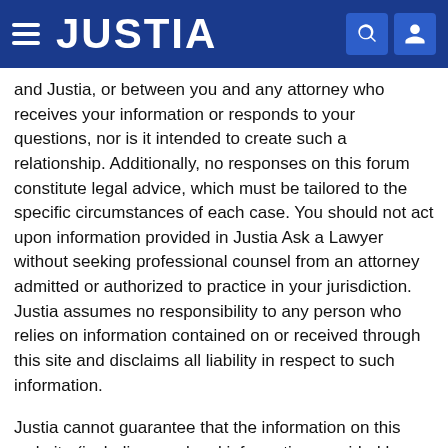JUSTIA
and Justia, or between you and any attorney who receives your information or responds to your questions, nor is it intended to create such a relationship. Additionally, no responses on this forum constitute legal advice, which must be tailored to the specific circumstances of each case. You should not act upon information provided in Justia Ask a Lawyer without seeking professional counsel from an attorney admitted or authorized to practice in your jurisdiction. Justia assumes no responsibility to any person who relies on information contained on or received through this site and disclaims all liability in respect to such information.
Justia cannot guarantee that the information on this website (including any legal information provided by an attorney through this service) is accurate, complete, or up-to-date. While we intend to make every attempt to keep the information on this site current, the owners of and contributors to this site make no claims, promises or guarantees about the accuracy, completeness or adequacy of the information contained in or linked to from this site.